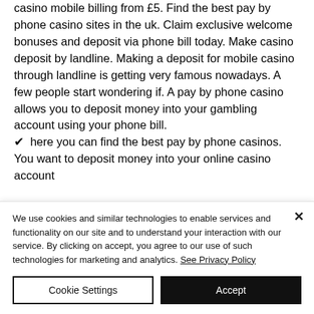casino mobile billing from £5. Find the best pay by phone casino sites in the uk. Claim exclusive welcome bonuses and deposit via phone bill today. Make casino deposit by landline. Making a deposit for mobile casino through landline is getting very famous nowadays. A few people start wondering if. A pay by phone casino allows you to deposit money into your gambling account using your phone bill. ✔ here you can find the best pay by phone casinos. You want to deposit money into your online casino account
We use cookies and similar technologies to enable services and functionality on our site and to understand your interaction with our service. By clicking on accept, you agree to our use of such technologies for marketing and analytics. See Privacy Policy
Cookie Settings
Accept